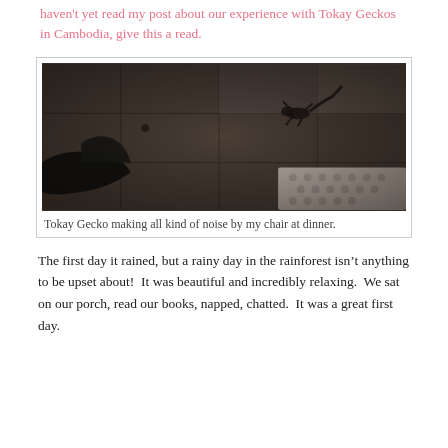haven't yet read my post about our experience with Tokay Geckos in Cambodia, give this a read.
[Figure (photo): Dark low-light photo of a Tokay Gecko on a tiled or concrete surface, with a dark shoe/foot visible in the lower left corner and a patterned fabric in the lower right.]
Tokay Gecko making all kind of noise by my chair at dinner.
The first day it rained, but a rainy day in the rainforest isn't anything to be upset about!  It was beautiful and incredibly relaxing.  We sat on our porch, read our books, napped, chatted.  It was a great first day.